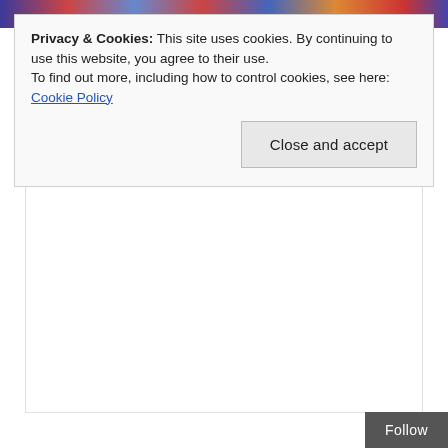[Figure (photo): Colorful image strip at top of page showing people in costumes or colorful clothing]
Privacy & Cookies: This site uses cookies. By continuing to use this website, you agree to their use.
To find out more, including how to control cookies, see here: Cookie Policy
Close and accept